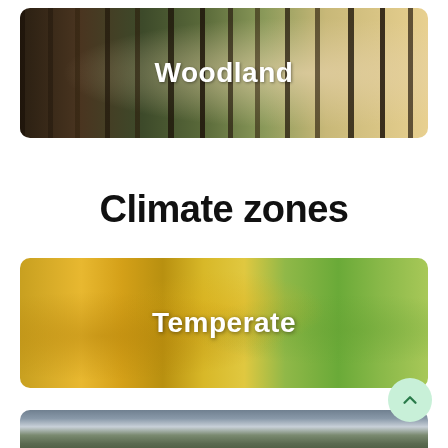[Figure (photo): Woodland forest scene with tall dark tree trunks and misty light filtering through from the right side]
Climate zones
[Figure (photo): Temperate forest scene with bright yellow-orange autumn trees on the left and green trees on the right]
[Figure (photo): Partially visible landscape with cloudy sky and dark conifer trees (bottom of page, cropped)]